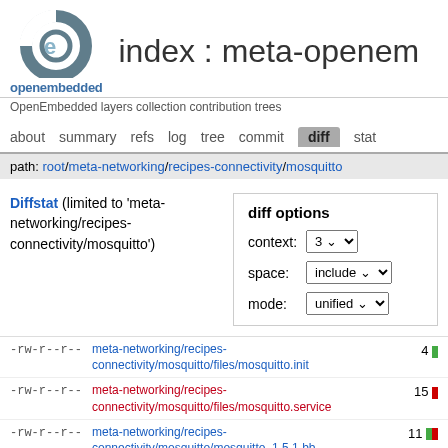index : meta-openem
OpenEmbedded layers collection contribution trees
about  summary  refs  log  tree  commit  diff  stat
path: root/meta-networking/recipes-connectivity/mosquitto
Diffstat (limited to 'meta-networking/recipes-connectivity/mosquitto')
diff options
context: 3
space: include
mode: unified
| permissions | file | stat |
| --- | --- | --- |
| -rw-r--r-- | meta-networking/recipes-connectivity/mosquitto/files/mosquitto.init | 4 |
| -rw-r--r-- | meta-networking/recipes-connectivity/mosquitto/files/mosquitto.service | 15 |
| -rw-r--r-- | meta-networking/recipes-connectivity/mosquitto/mosquitto_1.5.1.bb (renamed from meta-networking/recipes- | 11 |